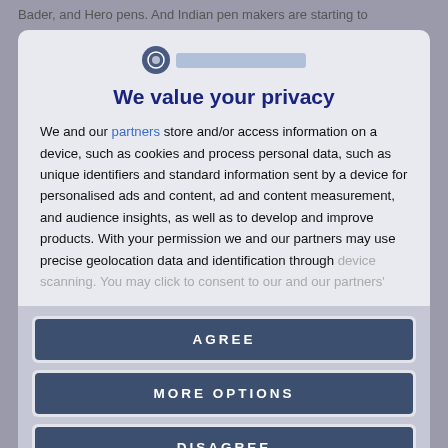Bader, and Hero pens. And Indian pen makers are starting to
We value your privacy
We and our partners store and/or access information on a device, such as cookies and process personal data, such as unique identifiers and standard information sent by a device for personalised ads and content, ad and content measurement, and audience insights, as well as to develop and improve products. With your permission we and our partners may use precise geolocation data and identification through device scanning. You may click to consent to our and our partners'
AGREE
MORE OPTIONS
DISAGREE